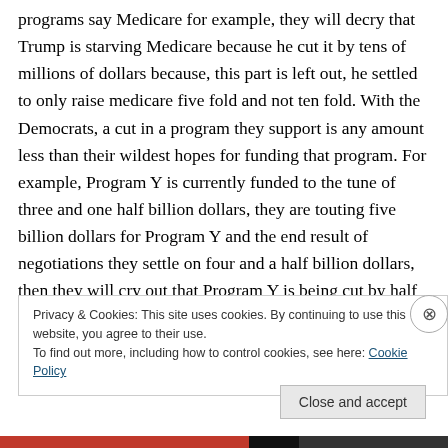programs say Medicare for example, they will decry that Trump is starving Medicare because he cut it by tens of millions of dollars because, this part is left out, he settled to only raise medicare five fold and not ten fold. With the Democrats, a cut in a program they support is any amount less than their wildest hopes for funding that program. For example, Program Y is currently funded to the tune of three and one half billion dollars, they are touting five billion dollars for Program Y and the end result of negotiations they settle on four and a half billion dollars, then they will cry out that Program Y is being cut by half of
Privacy & Cookies: This site uses cookies. By continuing to use this website, you agree to their use.
To find out more, including how to control cookies, see here: Cookie Policy
Close and accept